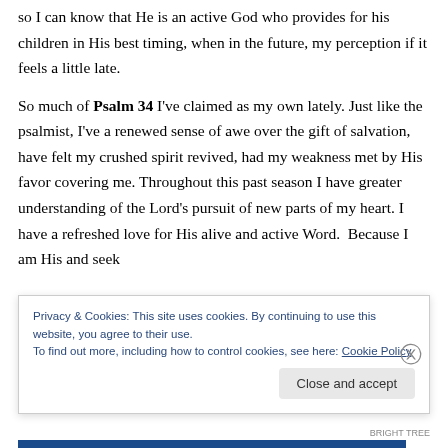so I can know that He is an active God who provides for his children in His best timing, when in the future, my perception if it feels a little late.
So much of Psalm 34 I've claimed as my own lately. Just like the psalmist, I've a renewed sense of awe over the gift of salvation, have felt my crushed spirit revived, had my weakness met by His favor covering me. Throughout this past season I have greater understanding of the Lord's pursuit of new parts of my heart. I have a refreshed love for His alive and active Word.  Because I am His and seek
Privacy & Cookies: This site uses cookies. By continuing to use this website, you agree to their use.
To find out more, including how to control cookies, see here: Cookie Policy